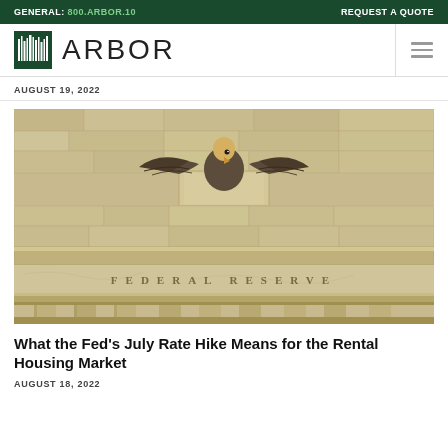GENERAL: 800.ARBOR.10    REQUEST A QUOTE
[Figure (logo): Arbor logo with barcode-style tree icon and the word ARBOR in large letters]
AUGUST 19, 2022
[Figure (photo): Federal Reserve building facade with eagle sculpture on top and 'FEDERAL RESERVE' lettering carved in stone]
What the Fed's July Rate Hike Means for the Rental Housing Market
AUGUST 18, 2022